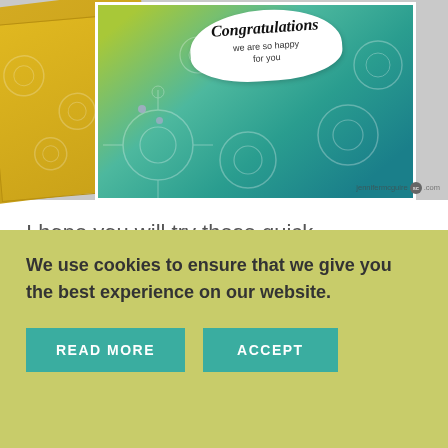[Figure (photo): Photo of handmade congratulations card with teal/green floral background and white flower tag saying 'Congratulations, we are so happy for you', next to a yellow envelope, on a gray marble surface. Watermark: jennifermcguire.com]
I hope you will try these quick techniques!
BLOG HOP
We use cookies to ensure that we give you the best experience on our website.
READ MORE   ACCEPT